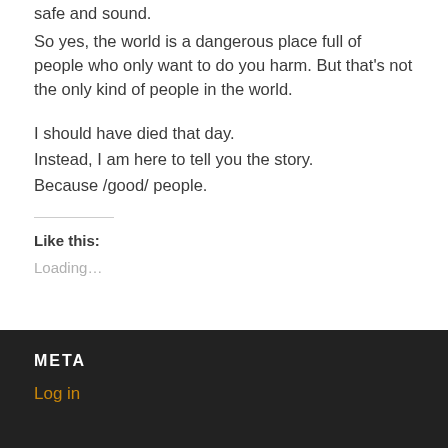safe and sound.
So yes, the world is a dangerous place full of people who only want to do you harm. But that's not the only kind of people in the world.
I should have died that day.
Instead, I am here to tell you the story.
Because /good/ people.
Like this:
Loading...
META
Log in